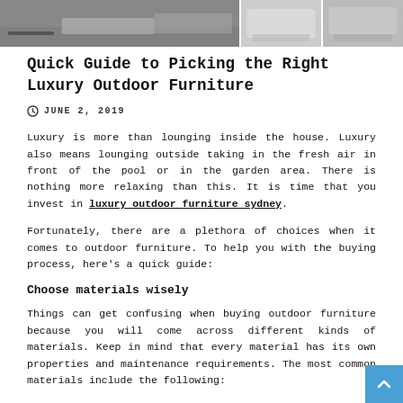[Figure (photo): Strip of photos showing outdoor furniture — a wide main photo on the left and two smaller photos on the right]
Quick Guide to Picking the Right Luxury Outdoor Furniture
JUNE 2, 2019
Luxury is more than lounging inside the house. Luxury also means lounging outside taking in the fresh air in front of the pool or in the garden area. There is nothing more relaxing than this. It is time that you invest in luxury outdoor furniture sydney.
Fortunately, there are a plethora of choices when it comes to outdoor furniture. To help you with the buying process, here’s a quick guide:
Choose materials wisely
Things can get confusing when buying outdoor furniture because you will come across different kinds of materials. Keep in mind that every material has its own properties and maintenance requirements. The most common materials include the following: